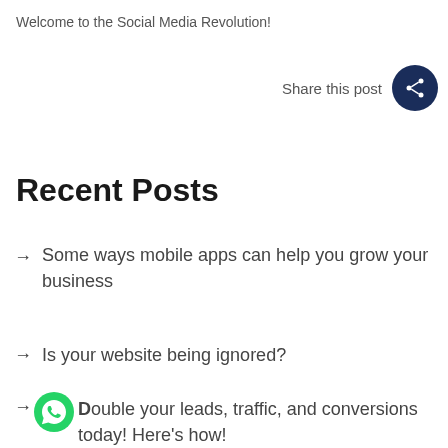Welcome to the Social Media Revolution!
[Figure (other): Share this post button with dark navy circular share icon]
Recent Posts
Some ways mobile apps can help you grow your business
Is your website being ignored?
Double your leads, traffic, and conversions today! Here's how!